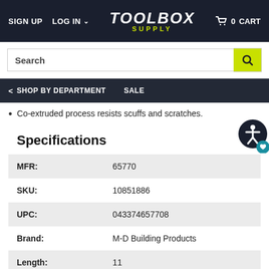SIGN UP  LOG IN  TOOLBOX SUPPLY  0 CART
Search
< SHOP BY DEPARTMENT  SALE
Co-extruded process resists scuffs and scratches.
Specifications
|  |  |
| --- | --- |
| MFR: | 65770 |
| SKU: | 10851886 |
| UPC: | 043374657708 |
| Brand: | M-D Building Products |
| Length: | 11 |
| Width: | 9 |